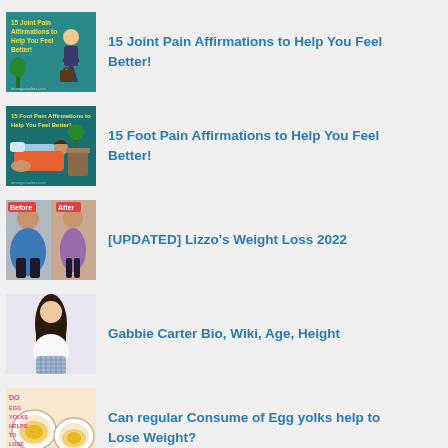[Figure (illustration): Thumbnail for '15 Joint Pain Affirmations' article - teal background with text and illustration of a person with joint pain]
15 Joint Pain Affirmations to Help You Feel Better!
[Figure (illustration): Thumbnail for '15 Foot Pain Affirmations' article - teal background with text and illustration of foot pain]
15 Foot Pain Affirmations to Help You Feel Better!
[Figure (photo): Thumbnail for Lizzo Weight Loss article - before and after photo of Lizzo]
[UPDATED] Lizzo's Weight Loss 2022
[Figure (photo): Thumbnail for Gabbie Carter Bio article - photo of young woman with long dark hair]
Gabbie Carter Bio, Wiki, Age, Height
[Figure (photo): Thumbnail for egg yolks article - photo of egg yolks in bowls]
Can regular Consume of Egg yolks help to Lose Weight?